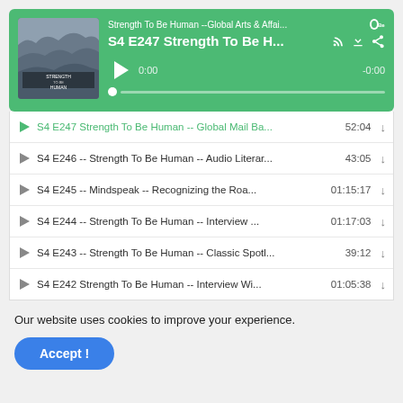[Figure (screenshot): Podcast player widget showing 'Strength To Be Human --Global Arts & Affai...' on PodBean, episode 'S4 E247 Strength To Be H...' with album art (rocky landscape with 'STRENGTH TO BE HUMAN' text), play button, progress bar at 0:00 / -0:00, and episode list with 6 episodes each with duration and download icon. Below the player is a cookie consent notice with 'Accept!' button.]
S4 E247 Strength To Be Human -- Global Mail Ba... 52:04
S4 E246 -- Strength To Be Human -- Audio Literar... 43:05
S4 E245 -- Mindspeak -- Recognizing the Roa... 01:15:17
S4 E244 -- Strength To Be Human -- Interview ... 01:17:03
S4 E243 -- Strength To Be Human -- Classic Spotl... 39:12
S4 E242 Strength To Be Human -- Interview Wi... 01:05:38
Our website uses cookies to improve your experience.
Accept !